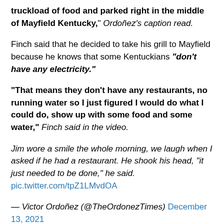truckload of food and parked right in the middle of Mayfield Kentucky," Ordoñez's caption read.
Finch said that he decided to take his grill to Mayfield because he knows that some Kentuckians "don't have any electricity."
"That means they don't have any restaurants, no running water so I just figured I would do what I could do, show up with some food and some water," Finch said in the video.
Jim wore a smile the whole morning, we laugh when I asked if he had a restaurant. He shook his head, "it just needed to be done," he said. pic.twitter.com/tpZ1LMvdOA
— Victor Ordoñez (@TheOrdonezTimes) December 13, 2021